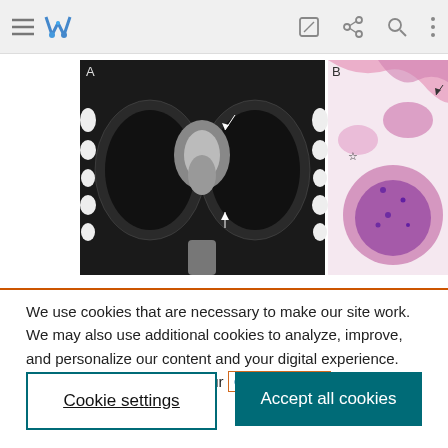Navigation bar with hamburger menu, logo, edit icon, share icon, search icon, more options icon
[Figure (photo): Two-panel medical image: left panel shows a chest CT scan in grayscale showing lungs and heart with arrows indicating features (labeled A), right panel shows a histology/pathology slide with purple-stained tissue (labeled B)]
We use cookies that are necessary to make our site work. We may also use additional cookies to analyze, improve, and personalize our content and your digital experience. For more information, see our Cookie Policy
Cookie settings
Accept all cookies